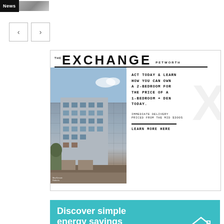[Figure (screenshot): News tag with thumbnail image in top left corner]
[Figure (other): Navigation previous/next arrow buttons]
[Figure (illustration): The Exchange Petworth real estate advertisement showing building photo and promotional text: ACT TODAY & LEARN HOW YOU CAN OWN A 2-BEDROOM FOR THE PRICE OF A 1-BEDROOM + DEN TODAY. IMMEDIATE DELIVERY PRICED FROM THE MID $300s. LEARN MORE HERE.]
[Figure (illustration): Discover simple energy savings in a box - teal/cyan colored advertisement banner with house icon]